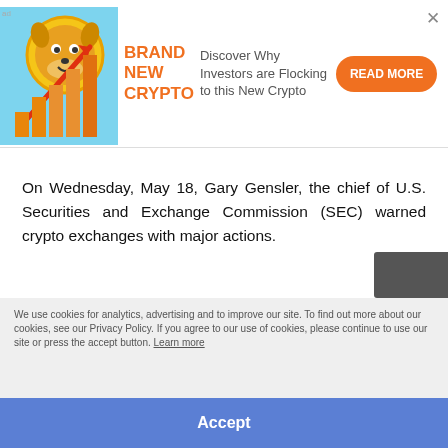[Figure (infographic): Crypto advertisement banner with a dog coin image, bar chart with upward arrow, orange 'BRAND NEW CRYPTO' text, description 'Discover Why Investors are Flocking to this New Crypto', and orange 'READ MORE' button]
On Wednesday, May 18, Gary Gensler, the chief of U.S. Securities and Exchange Commission (SEC) warned crypto exchanges with major actions.
We use cookies for analytics, advertising and to improve our site. To find out more about our cookies, see our Privacy Policy. If you agree to our use of cookies, please continue to use our site or press the accept button. Learn more
Accept